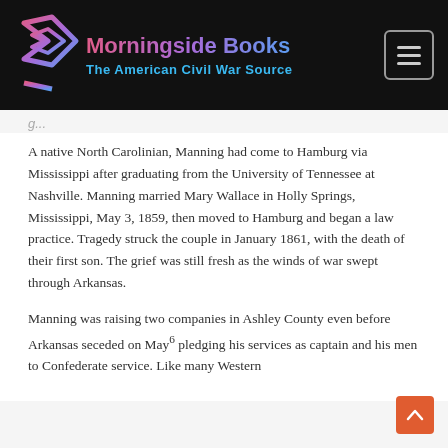[Figure (logo): Morningside Books logo with icon and text 'Morningside Books / The American Civil War Source' on dark background header, with hamburger menu button top-right]
A native North Carolinian, Manning had come to Hamburg via Mississippi after graduating from the University of Tennessee at Nashville. Manning married Mary Wallace in Holly Springs, Mississippi, May 3, 1859, then moved to Hamburg and began a law practice. Tragedy struck the couple in January 1861, with the death of their first son. The grief was still fresh as the winds of war swept through Arkansas.
Manning was raising two companies in Ashley County even before Arkansas seceded on May [6], pledging his services as captain and his men to Confederate service. Like many Western